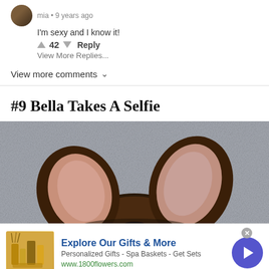I'm sexy and I know it!
42  Reply
View More Replies...
View more comments
#9 Bella Takes A Selfie
[Figure (photo): Close-up top-down photo of a dog's ears and top of head against a gray carpet background]
[Figure (other): Advertisement for 1800flowers.com: Explore Our Gifts & More. Personalized Gifts - Spa Baskets - Get Sets. www.1800flowers.com]